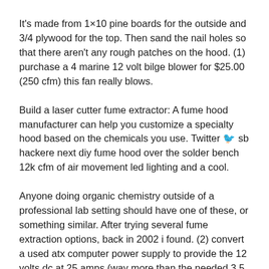It's made from 1×10 pine boards for the outside and 3/4 plywood for the top. Then sand the nail holes so that there aren't any rough patches on the hood. (1) purchase a 4 marine 12 volt bilge blower for $25.00 (250 cfm) this fan really blows.
Build a laser cutter fume extractor: A fume hood manufacturer can help you customize a specialty hood based on the chemicals you use. Twitter 🐦 sb hackere next diy fume hood over the solder bench 12k cfm of air movement led lighting and a cool.
Anyone doing organic chemistry outside of a professional lab setting should have one of these, or something similar. After trying several fume extraction options, back in 2002 i found. (2) convert a used atx computer power supply to provide the 12 volts dc at 25 amps (way more than the needed 3.5 amps on.